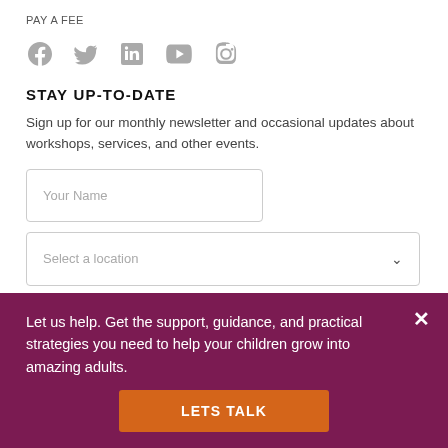PAY A FEE
[Figure (illustration): Social media icons: Facebook, Twitter, LinkedIn, YouTube, Instagram in gray]
STAY UP-TO-DATE
Sign up for our monthly newsletter and occasional updates about workshops, services, and other events.
Your Name (input field)
Select a location (dropdown)
Let us help. Get the support, guidance, and practical strategies you need to help your children grow into amazing adults.
LETS TALK